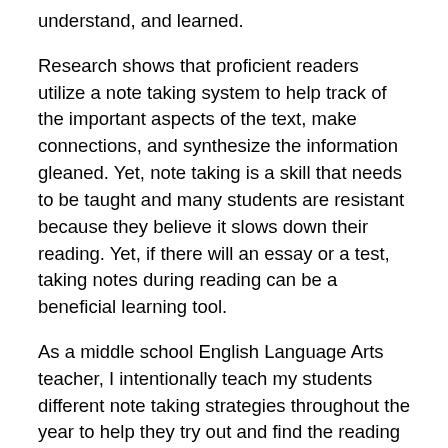understand, and learned.
Research shows that proficient readers utilize a note taking system to help track of the important aspects of the text, make connections, and synthesize the information gleaned. Yet, note taking is a skill that needs to be taught and many students are resistant because they believe it slows down their reading. Yet, if there will an essay or a test, taking notes during reading can be a beneficial learning tool.
As a middle school English Language Arts teacher, I intentionally teach my students different note taking strategies throughout the year to help they try out and find the reading and study strategies that will help them be successful in high school and college. I do not teach the different note taking strategies all at once but with each